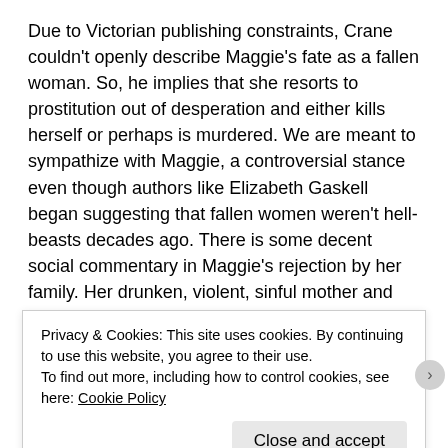Due to Victorian publishing constraints, Crane couldn't openly describe Maggie's fate as a fallen woman. So, he implies that she resorts to prostitution out of desperation and either kills herself or perhaps is murdered. We are meant to sympathize with Maggie, a controversial stance even though authors like Elizabeth Gaskell began suggesting that fallen women weren't hell-beasts decades ago. There is some decent social commentary in Maggie's rejection by her family. Her drunken, violent, sinful mother and brother throw sweet, kind Maggie out of the house for the sin of being ruined. That element is well done. Similarly, Crane's examination of Henry's behavior after he runs from battle is not unworthy of interest. Henry expresses his shame by turning his self-hate outwards and becomes an
Privacy & Cookies: This site uses cookies. By continuing to use this website, you agree to their use.
To find out more, including how to control cookies, see here: Cookie Policy
Close and accept